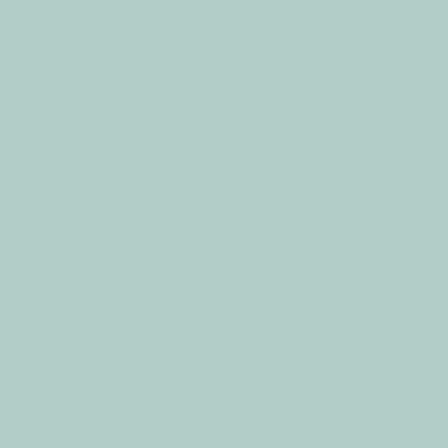2. Identify the corresponding tags
3. Locate those tags in your HTML file
4. Edit the code to suit
Let's repeat the process to edit the rest of the content we want to customize.
Add Your Own Image
Next we'll add our own image to the left of the name and profession area. Right-click the image and inspect it, and note the corresponding tag:
<img
src="http://webdesign.tutsplus.com